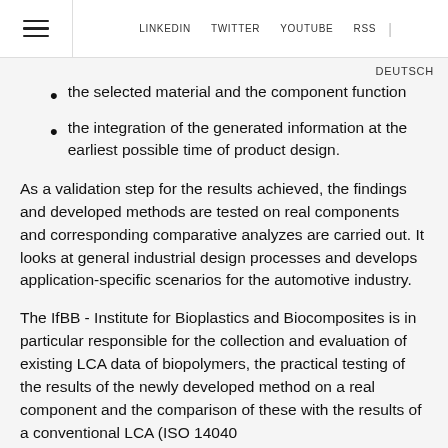≡  LINKEDIN  TWITTER  YOUTUBE  RSS  |
DEUTSCH
the selected material and the component function
the integration of the generated information at the earliest possible time of product design.
As a validation step for the results achieved, the findings and developed methods are tested on real components and corresponding comparative analyzes are carried out. It looks at general industrial design processes and develops application-specific scenarios for the automotive industry.
The IfBB - Institute for Bioplastics and Biocomposites is in particular responsible for the collection and evaluation of existing LCA data of biopolymers, the practical testing of the results of the newly developed method on a real component and the comparison of these with the results of a conventional LCA (ISO 14040...